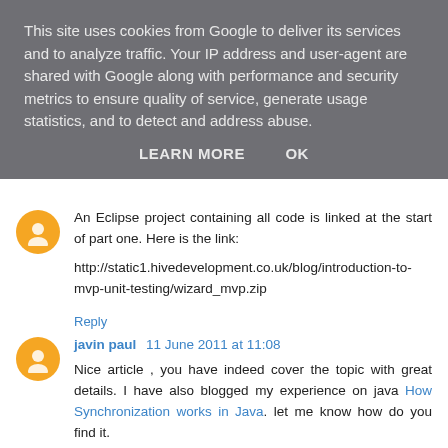This site uses cookies from Google to deliver its services and to analyze traffic. Your IP address and user-agent are shared with Google along with performance and security metrics to ensure quality of service, generate usage statistics, and to detect and address abuse.
LEARN MORE   OK
An Eclipse project containing all code is linked at the start of part one. Here is the link:

http://static1.hivedevelopment.co.uk/blog/introduction-to-mvp-unit-testing/wizard_mvp.zip
Reply
javin paul  11 June 2011 at 11:08
Nice article , you have indeed cover the topic with great details. I have also blogged my experience on java How Synchronization works in Java. let me know how do you find it.